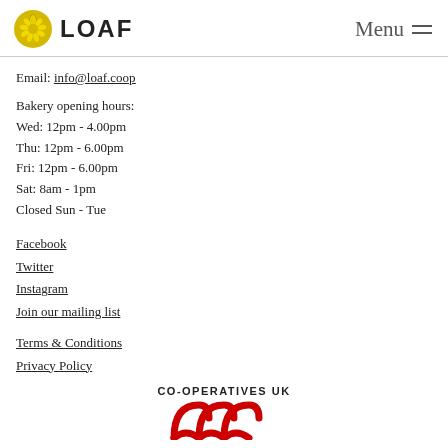LOAF  Menu
Email: info@loaf.coop
Bakery opening hours:
Wed: 12pm - 4.00pm
Thu: 12pm - 6.00pm
Fri: 12pm - 6.00pm
Sat: 8am - 1pm
Closed Sun - Tue
Facebook
Twitter
Instagram
Join our mailing list
Terms & Conditions
Privacy Policy
[Figure (logo): CO-OPERATIVES UK logo with red interlocking arches]